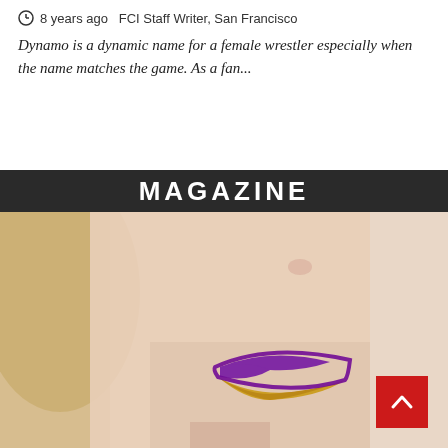8 years ago  FCI Staff Writer, San Francisco
Dynamo is a dynamic name for a female wrestler especially when the name matches the game. As a fan...
MAGAZINE
[Figure (photo): Close-up photo of a woman's face showing bold purple and gold ombre lips with blurred background. A red back-to-top button is overlaid in the bottom right corner.]